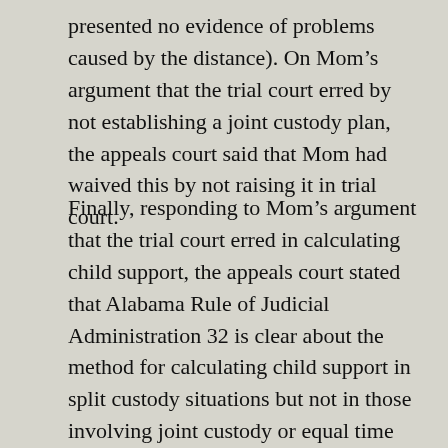presented no evidence of problems caused by the distance). On Mom's argument that the trial court erred by not establishing a joint custody plan, the appeals court said that Mom had waived this by not raising it in trial court.
Finally, responding to Mom's argument that the trial court erred in calculating child support, the appeals court stated that Alabama Rule of Judicial Administration 32 is clear about the method for calculating child support in split custody situations but not in those involving joint custody or equal time arrangements. The trial court was empowered to deviate from the guidelines in joint custody situatuons, the appeals court said, but it